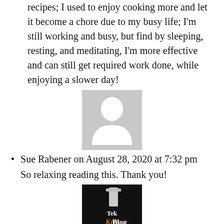recipes; I used to enjoy cooking more and let it become a chore due to my busy life; I'm still working and busy, but find by sleeping, resting, and meditating, I'm more effective and can still get required work done, while enjoying a slower day!
[Figure (photo): Generic user avatar placeholder — grey square with white silhouette of a person]
Sue Rabener on August 28, 2020 at 7:32 pm
So relaxing reading this. Thank you!
[Figure (logo): Tek KrizBlog logo — dark background with text 'Tek KrizBlog ...the tech universe']
Irene on September 16, 2020 at 1:02 pm
Seriously beautiful. Her hair looks like a